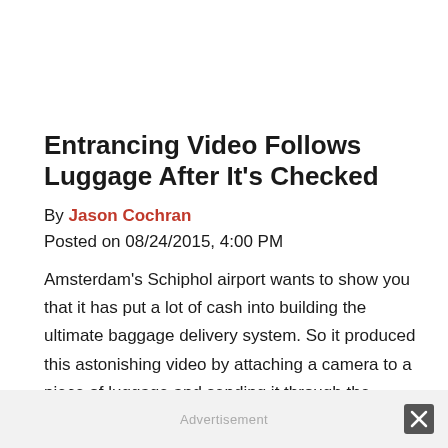Entrancing Video Follows Luggage After It's Checked
By Jason Cochran
Posted on 08/24/2015, 4:00 PM
Amsterdam's Schiphol airport wants to show you that it has put a lot of cash into building the ultimate baggage delivery system. So it produced this astonishing video by attaching a camera to a piece of luggage and sending it through the airport's elaborate system of automated conveyor belts, slides, and sensors. This version is enough to put stars in your eyes, but the version ove...
Advertisement